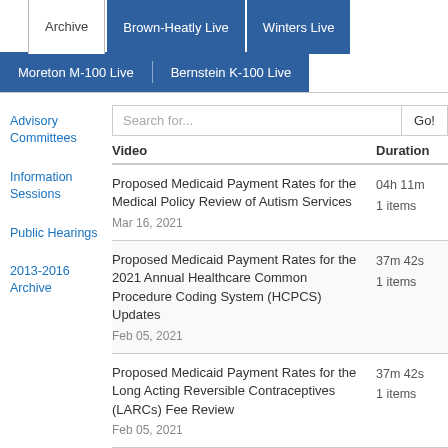Archive | Brown-Heatly Live | Winters Live | Moreton M-100 Live | Bernstein K-100 Live
Advisory Committees
Information Sessions
Public Hearings
2013-2016 Archive
| Video | Duration |
| --- | --- |
| Proposed Medicaid Payment Rates for the Medical Policy Review of Autism Services
Mar 16, 2021 | 04h 11m
1 items |
| Proposed Medicaid Payment Rates for the 2021 Annual Healthcare Common Procedure Coding System (HCPCS) Updates
Feb 05, 2021 | 37m 42s
1 items |
| Proposed Medicaid Payment Rates for the Long Acting Reversible Contraceptives (LARCs) Fee Review
Feb 05, 2021 | 37m 42s
1 items |